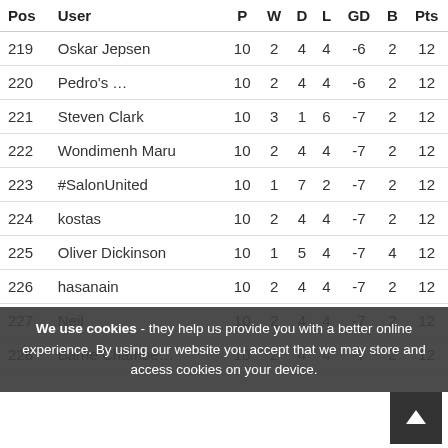| Pos | User | P | W | D | L | GD | B | Pts |
| --- | --- | --- | --- | --- | --- | --- | --- | --- |
| 219 | Oskar Jepsen | 10 | 2 | 4 | 4 | -6 | 2 | 12 |
| 220 | Pedro's … | 10 | 2 | 4 | 4 | -6 | 2 | 12 |
| 221 | Steven Clark | 10 | 3 | 1 | 6 | -7 | 2 | 12 |
| 222 | Wondimenh Maru | 10 | 2 | 4 | 4 | -7 | 2 | 12 |
| 223 | #SalonUnited | 10 | 1 | 7 | 2 | -7 | 2 | 12 |
| 224 | kostas | 10 | 2 | 4 | 4 | -7 | 2 | 12 |
| 225 | Oliver Dickinson | 10 | 1 | 5 | 4 | -7 | 4 | 12 |
| 226 | hasanain | 10 | 2 | 4 | 4 | -7 | 2 | 12 |
| 227 | Neil | 10 | 2 | 4 | 4 | -7 | 2 | 12 |
| 228 | Barrie Chambe… | 10 | 2 | 4 | 4 | -7 | 2 | 12 |
We use cookies - they help us provide you with a better online experience. By using our website you accept that we may store and access cookies on your device.